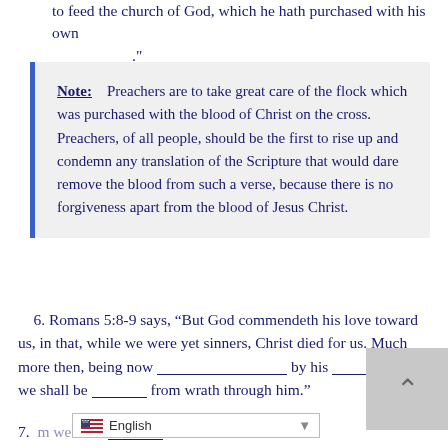to feed the church of God, which he hath purchased with his own _____."
Note: Preachers are to take great care of the flock which was purchased with the blood of Christ on the cross. Preachers, of all people, should be the first to rise up and condemn any translation of the Scripture that would dare remove the blood from such a verse, because there is no forgiveness apart from the blood of Jesus Christ.
6. Romans 5:8-9 says, “But God commendeth his love toward us, in that, while we were yet sinners, Christ died for us. Much more then, being now ________________ by his __________, we shall be __________ from wrath through him.”
7. ... m we have ___